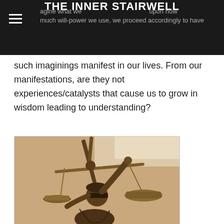THE INNER STAIRWELL
agine what we … upon how much will-power we use, we proceed accordingly to have such imaginings manifest in our lives. From our manifestations, are they not experiences/catalysts that cause us to grow in wisdom leading to understanding?
[Figure (photo): Close-up photograph of a Lady Justice bronze statue holding scales of justice, blindfolded, against a light beige background.]